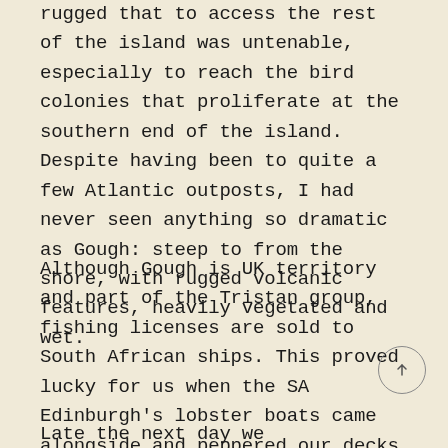rugged that to access the rest of the island was untenable, especially to reach the bird colonies that proliferate at the southern end of the island. Despite having been to quite a few Atlantic outposts, I had never seen anything so dramatic as Gough: steep to from the shore, with rugged volcanic features, heavily vegetated and wet.
Although Gough is UK territory and part of the Tristan group, fishing licenses are sold to South African ships. This proved lucky for us when the SA Edinburgh's lobster boats came alongside and peppered our decks with rock lobsters and by-catch fish, in return for a few hundred rands.
Late the next day we circumnavigated the